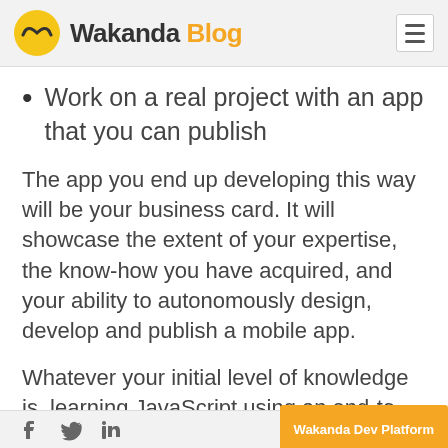Wakanda Blog
Work on a real project with an app that you can publish
The app you end up developing this way will be your business card. It will showcase the extent of your expertise, the know-how you have acquired, and your ability to autonomously design, develop and publish a mobile app.
Whatever your initial level of knowledge is, learning JavaScript using an end-to-end platform such as Wakanda is your guarantee of success. By learning how to
Wakanda Dev Platform